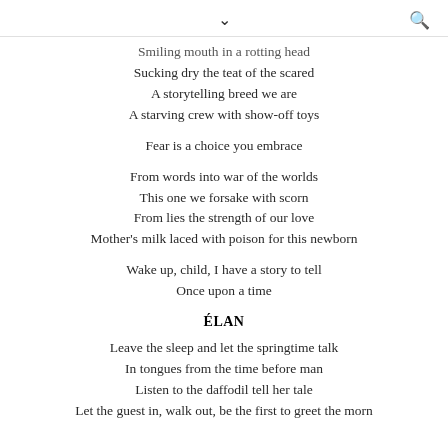Smiling mouth in a rotting head
Sucking dry the teat of the scared
A storytelling breed we are
A starving crew with show-off toys
Fear is a choice you embrace
From words into war of the worlds
This one we forsake with scorn
From lies the strength of our love
Mother's milk laced with poison for this newborn
Wake up, child, I have a story to tell
Once upon a time
ÉLAN
Leave the sleep and let the springtime talk
In tongues from the time before man
Listen to the daffodil tell her tale
Let the guest in, walk out, be the first to greet the morn